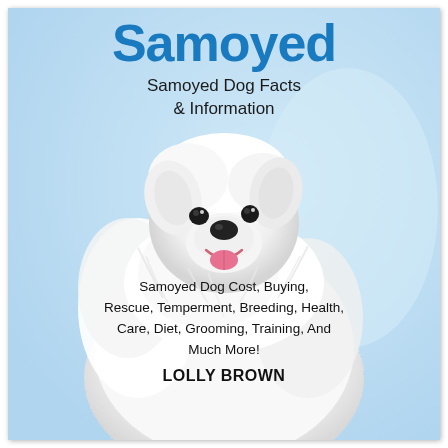Samoyed
Samoyed Dog Facts & Information
[Figure (photo): A smiling white fluffy Samoyed dog photographed against a light blue background, facing slightly to the right, showing its characteristic thick white fur and happy expression with mouth open.]
Samoyed Dog Cost, Buying, Rescue, Temperment, Breeding, Health, Care, Diet, Grooming, Training, And Much More!
LOLLY BROWN